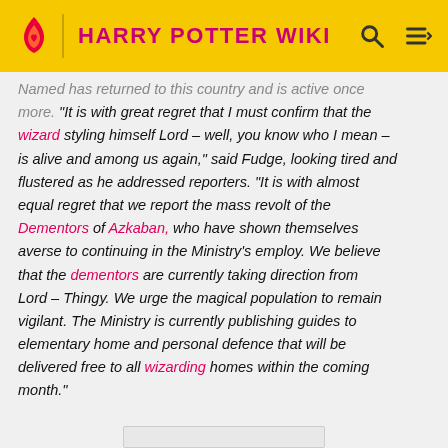HARRY POTTER WIKI
Named has returned to this country and is active once more. "It is with great regret that I must confirm that the wizard styling himself Lord – well, you know who I mean – is alive and among us again," said Fudge, looking tired and flustered as he addressed reporters. "It is with almost equal regret that we report the mass revolt of the Dementors of Azkaban, who have shown themselves averse to continuing in the Ministry's employ. We believe that the dementors are currently taking direction from Lord – Thingy. We urge the magical population to remain vigilant. The Ministry is currently publishing guides to elementary home and personal defence that will be delivered free to all wizarding homes within the coming month."